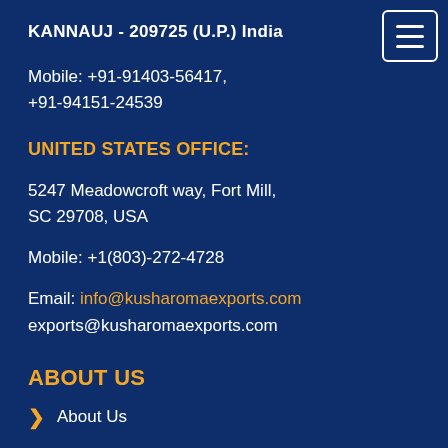KANNAUJ - 209725 (U.P.) India
Mobile: +91-91403-56417, +91-94151-24539
UNITED STATES OFFICE:
5247 Meadowcroft way, Fort Mill, SC 29708, USA
Mobile: +1(803)-272-4728
Email: info@kusharomaexports.com exports@kusharomaexports.com
ABOUT US
About Us